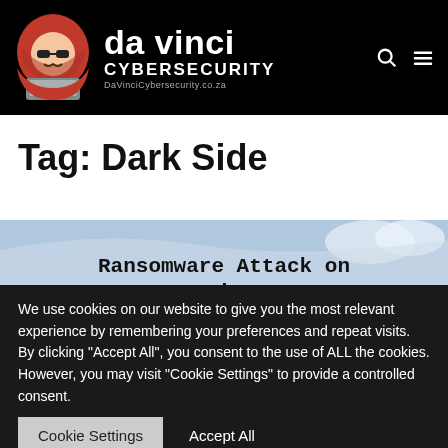[Figure (logo): Da Vinci Cybersecurity logo with hooded hacker mascot and website URL DaVinciCybersecurity.co.za]
Tag: Dark Side
[Figure (photo): Partial image showing text 'Ransomware Attack on' over a light blue background, with article title partially visible]
We use cookies on our website to give you the most relevant experience by remembering your preferences and repeat visits. By clicking "Accept All", you consent to the use of ALL the cookies. However, you may visit "Cookie Settings" to provide a controlled consent.
Cookie Settings | Accept All